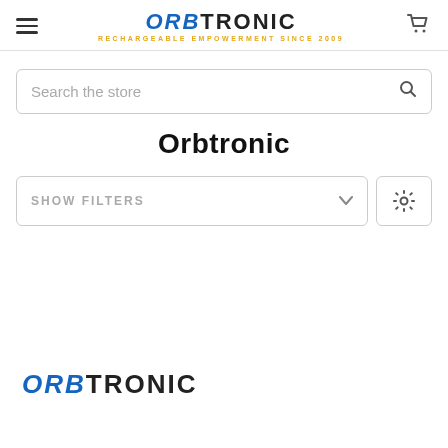ORBTRONIC — RECHARGEABLE EMPOWERMENT SINCE 2009
Search the store
Orbtronic
SHOW FILTERS
[Figure (logo): Orbtronic logo with ORB in blue italic and TRONIC in black, bottom of page]